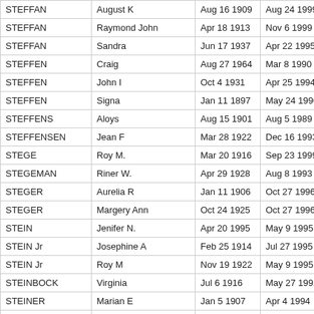| STEFFAN | August K | Aug 16 1909 | Aug 24 1999 |
| STEFFAN | Raymond John | Apr 18 1913 | Nov 6 1999 |
| STEFFAN | Sandra | Jun 17 1937 | Apr 22 1995 |
| STEFFEN | Craig | Aug 27 1964 | Mar 8 1990 |
| STEFFEN | John I | Oct 4 1931 | Apr 25 1994 |
| STEFFEN | Signa | Jan 11 1897 | May 24 1990 |
| STEFFENS | Aloys | Aug 15 1901 | Aug 5 1989 |
| STEFFENSEN | Jean F | Mar 28 1922 | Dec 16 1993 |
| STEGE | Roy M. | Mar 20 1916 | Sep 23 1999 |
| STEGEMAN | Riner W. | Apr 29 1928 | Aug 8 1993 |
| STEGER | Aurelia R | Jan 11 1906 | Oct 27 1996 |
| STEGER | Margery Ann | Oct 24 1925 | Oct 27 1996 |
| STEIN | Jenifer N. | Apr 20 1995 | May 9 1995 |
| STEIN Jr | Josephine A | Feb 25 1914 | Jul 27 1995 |
| STEIN Jr | Roy M | Nov 19 1922 | May 9 1995 |
| STEINBOCK | Virginia | Jul 6 1916 | May 27 1992 |
| STEINER | Marian E | Jan 5 1907 | Apr 4 1994 |
| STEINFATH | Kathleen E. | Dec 28 1936 | Mar 12 1994 |